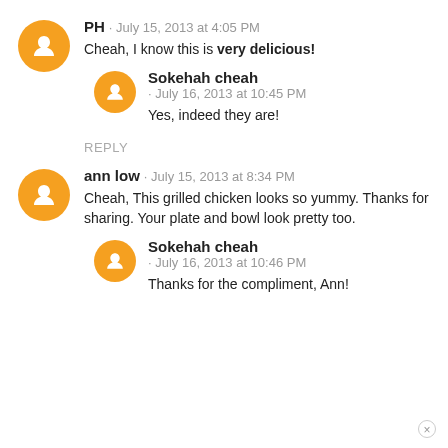PH · July 15, 2013 at 4:05 PM
Cheah, I know this is very delicious!
Sokehah cheah · July 16, 2013 at 10:45 PM
Yes, indeed they are!
REPLY
ann low · July 15, 2013 at 8:34 PM
Cheah, This grilled chicken looks so yummy. Thanks for sharing. Your plate and bowl look pretty too.
Sokehah cheah · July 16, 2013 at 10:46 PM
Thanks for the compliment, Ann!